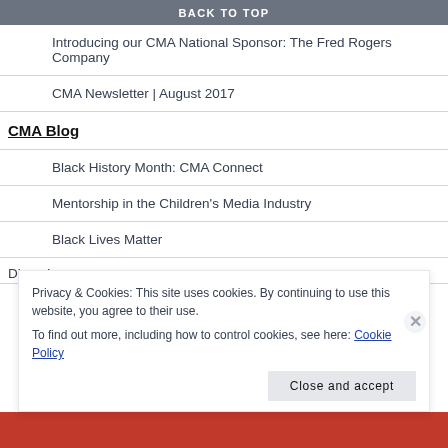2nd Annual Story Time Event
BACK TO TOP
Introducing our CMA National Sponsor: The Fred Rogers Company
CMA Newsletter | August 2017
CMA Blog
Black History Month: CMA Connect
Mentorship in the Children's Media Industry
Black Lives Matter
Diana Lopez
Privacy & Cookies: This site uses cookies. By continuing to use this website, you agree to their use.
To find out more, including how to control cookies, see here: Cookie Policy
Close and accept